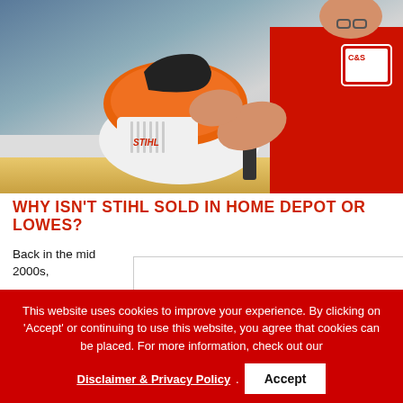[Figure (photo): A person in a red uniform working on a STIHL chainsaw on a counter in a hardware store]
WHY ISN'T STIHL SOLD IN HOME DEPOT OR LOWES?
Back in the mid 2000s,
This website uses cookies to improve your experience. By clicking on 'Accept' or continuing to use this website, you agree that cookies can be placed. For more information, check out our
Disclaimer & Privacy Policy
Accept